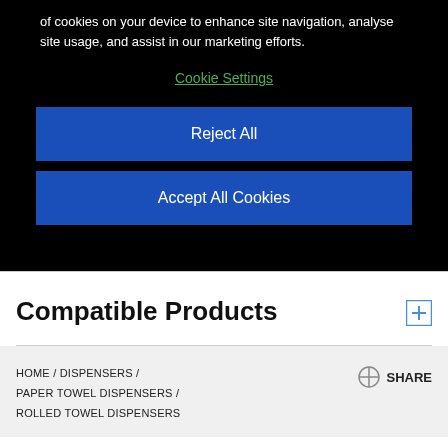of cookies on your device to enhance site navigation, analyse site usage, and assist in our marketing efforts.
Cookie Settings
Reject All
Accept All Cookies
Compatible Products
HOME / DISPENSERS / PAPER TOWEL DISPENSERS / ROLLED TOWEL DISPENSERS
SHARE